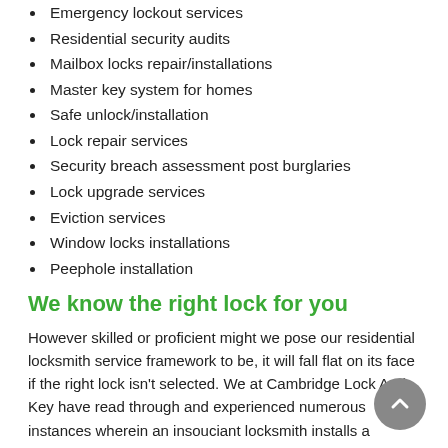Emergency lockout services
Residential security audits
Mailbox locks repair/installations
Master key system for homes
Safe unlock/installation
Lock repair services
Security breach assessment post burglaries
Lock upgrade services
Eviction services
Window locks installations
Peephole installation
We know the right lock for you
However skilled or proficient might we pose our residential locksmith service framework to be, it will fall flat on its face if the right lock isn’t selected. We at Cambridge Lock And Key have read through and experienced numerous instances wherein an insouciant locksmith installs a languid lock and result is a burglary and an ever looming threat to life and property. This is why our efforts are rooted